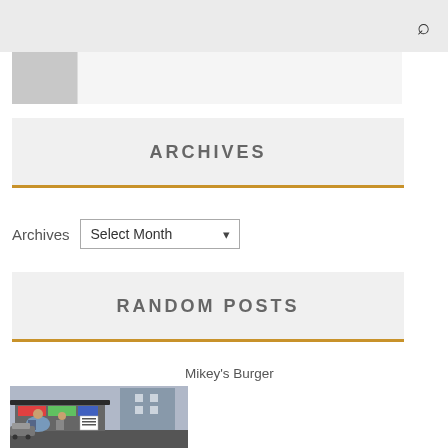ARCHIVES
Archives  Select Month
RANDOM POSTS
Mikey's Burger
[Figure (photo): Street food stall/burger stand with people ordering, urban outdoor setting]